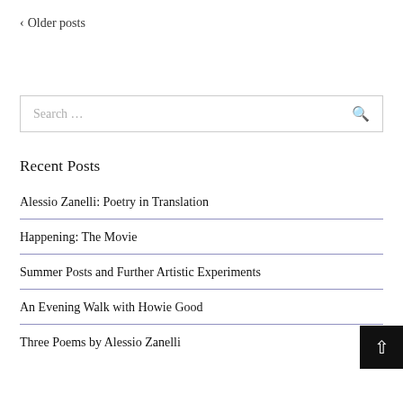‹ Older posts
Search...
Recent Posts
Alessio Zanelli: Poetry in Translation
Happening: The Movie
Summer Posts and Further Artistic Experiments
An Evening Walk with Howie Good
Three Poems by Alessio Zanelli